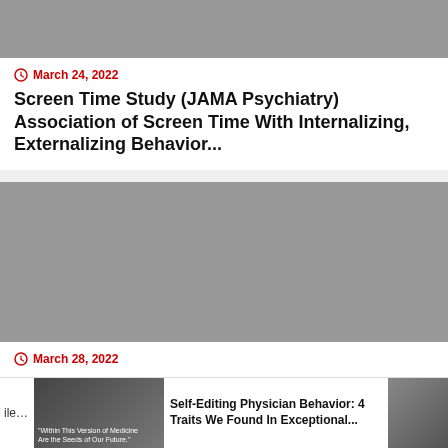[Figure (photo): Gray placeholder image at the top of the first article card]
March 24, 2022
Screen Time Study (JAMA Psychiatry) Association of Screen Time With Internalizing, Externalizing Behavior...
[Figure (photo): Gray placeholder image for the second article card]
March 28, 2022
[Figure (photo): Thumbnail image bottom left showing a physician speaker]
ile...
Self-Editing Physician Behavior: 4 Traits We Found In Exceptional...
[Figure (photo): Thumbnail image bottom right showing a man in suit]